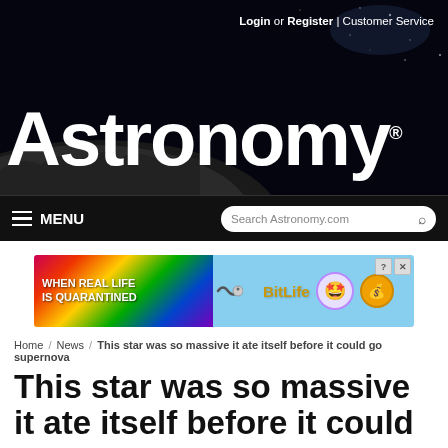Login or Register | Customer Service
[Figure (logo): Astronomy magazine logo in large white bold text on dark space background]
[Figure (screenshot): Navigation bar with MENU hamburger icon and Search Astronomy.com search box]
[Figure (photo): BitLife advertisement banner with rainbow gradient left side text 'WHEN REAL LIFE IS QUARANTINED' and BitLife logo on right]
Home / News / This star was so massive it ate itself before it could go supernova
This star was so massive it ate itself before it could go supernova